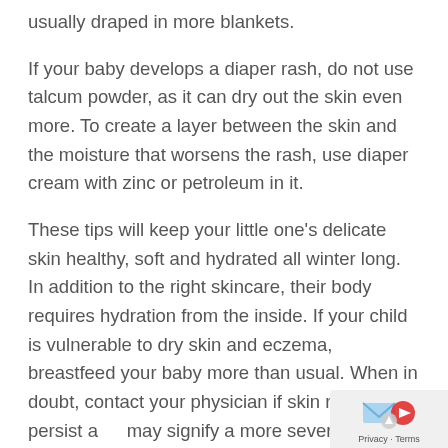usually draped in more blankets.
If your baby develops a diaper rash, do not use talcum powder, as it can dry out the skin even more. To create a layer between the skin and the moisture that worsens the rash, use diaper cream with zinc or petroleum in it.
These tips will keep your little one's delicate skin healthy, soft and hydrated all winter long. In addition to the right skincare, their body requires hydration from the inside. If your child is vulnerable to dry skin and eczema, breastfeed your baby more than usual. When in doubt, contact your physician if skin rashes persist as it may signify a more severe condition.
We understand it may seem challenging to